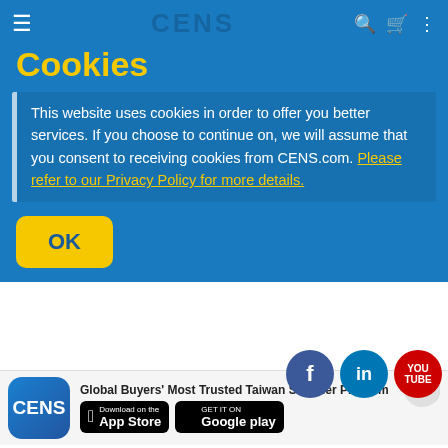CENS — hamburger menu, search, cart, more icons
Cookies
This website uses cookies in order to offer you better services. If you choose to continue on, we will assume that you consent to receiving cookies from CENS.com. Please refer to our Privacy Policy for more details.
OK
[Figure (screenshot): Social media icons: Facebook, LinkedIn, YouTube]
Get to Know Us
About Us
Business Partners
Services & Products
Customized Sourcing Services
Trade Magazines / eBooks
[Figure (screenshot): CENS app download banner with App Store and Google Play buttons]